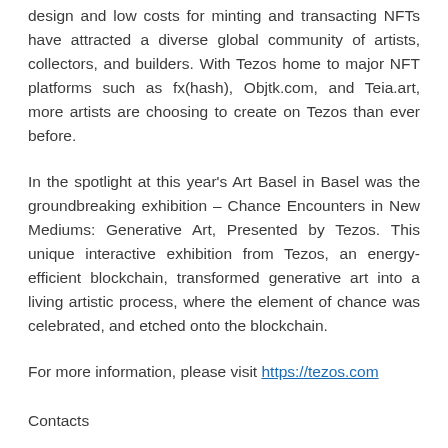design and low costs for minting and transacting NFTs have attracted a diverse global community of artists, collectors, and builders. With Tezos home to major NFT platforms such as fx(hash), Objtk.com, and Teia.art, more artists are choosing to create on Tezos than ever before.
In the spotlight at this year's Art Basel in Basel was the groundbreaking exhibition – Chance Encounters in New Mediums: Generative Art, Presented by Tezos. This unique interactive exhibition from Tezos, an energy-efficient blockchain, transformed generative art into a living artistic process, where the element of chance was celebrated, and etched onto the blockchain.
For more information, please visit https://tezos.com
Contacts